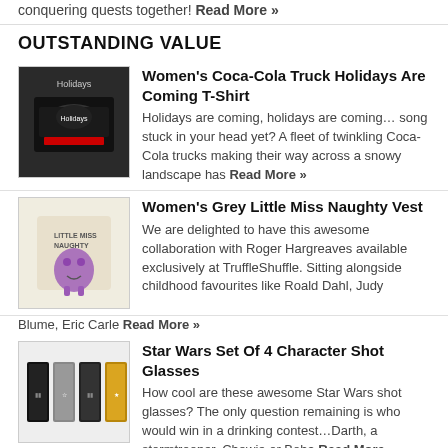conquering quests together! Read More »
OUTSTANDING VALUE
Women's Coca-Cola Truck Holidays Are Coming T-Shirt
Holidays are coming, holidays are coming… song stuck in your head yet? A fleet of twinkling Coca-Cola trucks making their way across a snowy landscape has Read More »
Women's Grey Little Miss Naughty Vest
We are delighted to have this awesome collaboration with Roger Hargreaves available exclusively at TruffleShuffle. Sitting alongside childhood favourites like Roald Dahl, Judy Blume, Eric Carle Read More »
Star Wars Set Of 4 Character Shot Glasses
How cool are these awesome Star Wars shot glasses? The only question remaining is who would win in a drinking contest…Darth, a stormtrooper, Chewie or Boba Read More »